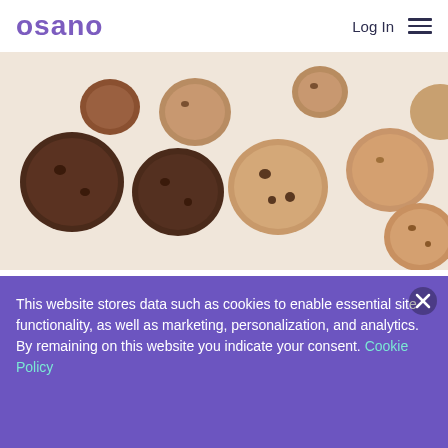osano   Log In ☰
[Figure (photo): Overhead flat-lay photo of assorted cookies (chocolate, chocolate chip, snickerdoodle, oatmeal) scattered on a light beige background.]
Marketers love cookies. And we're not just talking about the straight-out-of-the-oven Nestlé Toll House chocolate chip kind. For nearly 30 years, marketers have employed third-party cookies to support their advertising strategies and boost sales.
This website stores data such as cookies to enable essential site functionality, as well as marketing, personalization, and analytics. By remaining on this website you indicate your consent. Cookie Policy